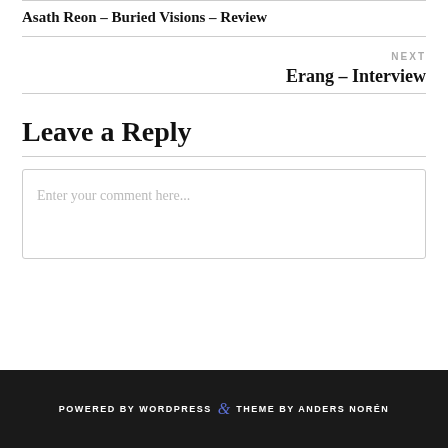Asath Reon – Buried Visions – Review
NEXT
Erang – Interview
Leave a Reply
Enter your comment here...
POWERED BY WORDPRESS & THEME BY ANDERS NORÉN